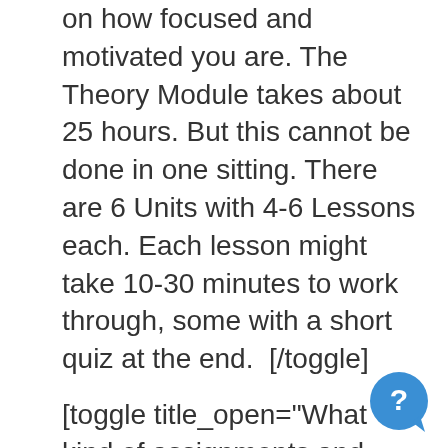on how focused and motivated you are. The Theory Module takes about 25 hours. But this cannot be done in one sitting. There are 6 Units with 4-6 Lessons each. Each lesson might take 10-30 minutes to work through, some with a short quiz at the end.  [/toggle]
[toggle title_open="What kind of assignments and testing will I have to do?" title_closed="What kind of assignments and testing will I have to do?" hide="yes" border="yes" style="default" excerpt_length="0" read_more_text="Read More"
[Figure (other): Blue circular help/chat button with a white question mark, positioned in the bottom right corner]